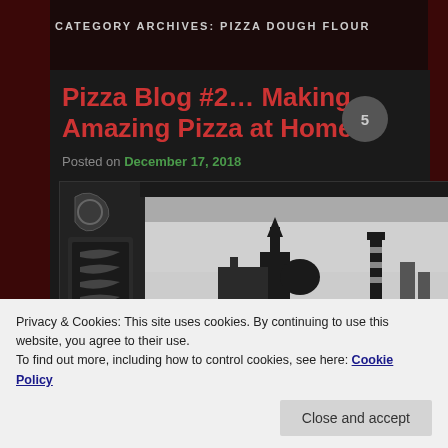CATEGORY ARCHIVES: PIZZA DOUGH FLOUR
Pizza Blog #2… Making Amazing Pizza at Home
Posted on December 17, 2018
[Figure (photo): Black and white photo of an Italian cityscape silhouette with a church tower and lighthouse, framed by decorative ironwork]
Privacy & Cookies: This site uses cookies. By continuing to use this website, you agree to their use.
To find out more, including how to control cookies, see here: Cookie Policy
Close and accept